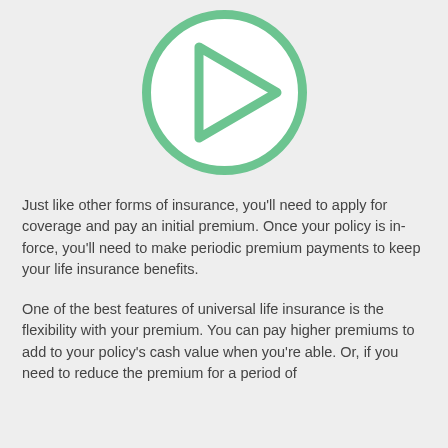[Figure (illustration): A circular icon with a green outline containing a white play-button triangle shape (pointing right), representing a media/action symbol related to insurance policy activation.]
Just like other forms of insurance, you'll need to apply for coverage and pay an initial premium. Once your policy is in-force, you'll need to make periodic premium payments to keep your life insurance benefits.
One of the best features of universal life insurance is the flexibility with your premium. You can pay higher premiums to add to your policy's cash value when you're able. Or, if you need to reduce the premium for a period of